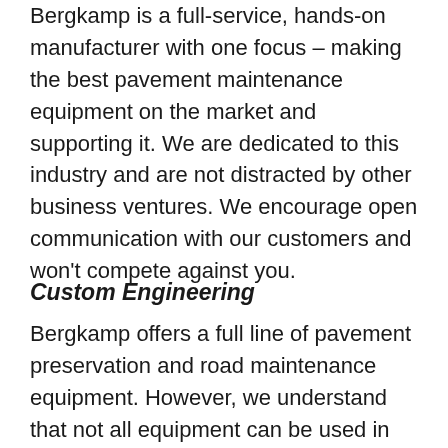Bergkamp is a full-service, hands-on manufacturer with one focus – making the best pavement maintenance equipment on the market and supporting it. We are dedicated to this industry and are not distracted by other business ventures. We encourage open communication with our customers and won't compete against you.
Custom Engineering
Bergkamp offers a full line of pavement preservation and road maintenance equipment. However, we understand that not all equipment can be used in every application. That's why we also build